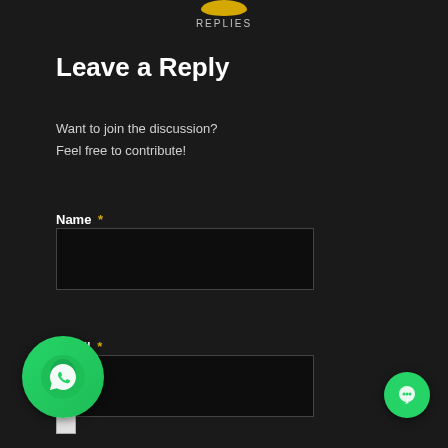[Figure (illustration): Partial yellow/gold smiley face icon visible at top center, with 'REPLIES' text label beneath it]
Leave a Reply
Want to join the discussion?
Feel free to contribute!
Name *
[Figure (screenshot): Empty dark input field for Name]
Email *
[Figure (screenshot): Empty dark input field for Email]
Website
[Figure (illustration): WhatsApp floating action button (green circle with phone/WhatsApp logo) at bottom left]
[Figure (illustration): Small green chat button at bottom right]
[Figure (illustration): Small white checkbox at bottom left]